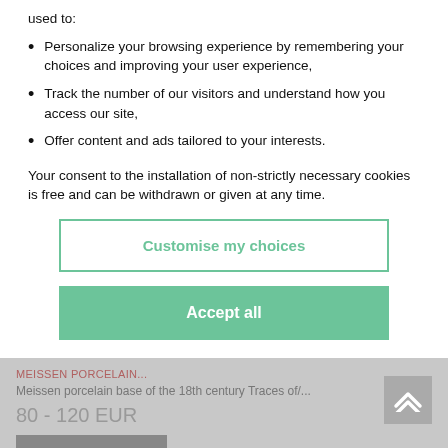used to:
Personalize your browsing experience by remembering your choices and improving your user experience,
Track the number of our visitors and understand how you access our site,
Offer content and ads tailored to your interests.
Your consent to the installation of non-strictly necessary cookies is free and can be withdrawn or given at any time.
Customise my choices
Accept all
MEISSEN PORCELAIN...
Meissen porcelain base of the 18th century Traces of/...
80 - 120 EUR
Result 258 EUR
Result with fees